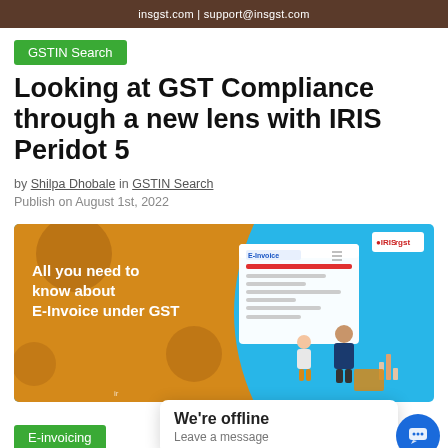insgst.com | support@insgst.com
GSTIN Search
Looking at GST Compliance through a new lens with IRIS Peridot 5
by Shilpa Dhobale in GSTIN Search
Publish on August 1st, 2022
[Figure (illustration): Promotional banner image for E-Invoice under GST with IRIS GST branding, showing an invoice document mockup on a blue and gold background with figures of people]
We're offline
Leave a message
E-invoicing